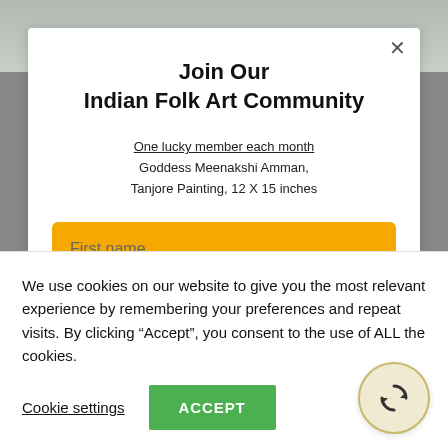[Figure (screenshot): Background image of sky/landscape at top of page]
Join Our Indian Folk Art Community
One lucky member each month Goddess Meenakshi Amman, Tanjore Painting, 12 X 15 inches
We use cookies on our website to give you the most relevant experience by remembering your preferences and repeat visits. By clicking "Accept", you consent to the use of ALL the cookies.
Cookie settings
ACCEPT